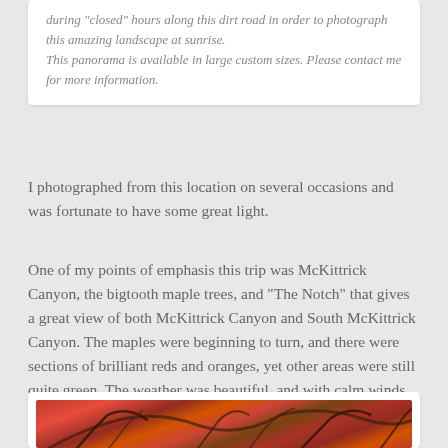during 'closed' hours along this dirt road in order to photograph this amazing landscape at sunrise. This panorama is available in large custom sizes. Please contact me for more information.
I photographed from this location on several occasions and was fortunate to have some great light.
One of my points of emphasis this trip was McKittrick Canyon, the bigtooth maple trees, and "The Notch" that gives a great view of both McKittrick Canyon and South McKittrick Canyon. The maples were beginning to turn, and there were sections of brilliant reds and oranges, yet other areas were still quite green. The weather was beautiful, and with calm winds, photographing the scenery along this trail was a pleasure.
[Figure (photo): Photograph of bigtooth maple trees with brilliant red and orange autumn foliage, viewed looking upward through the canopy with dark branches visible against the colorful leaves.]